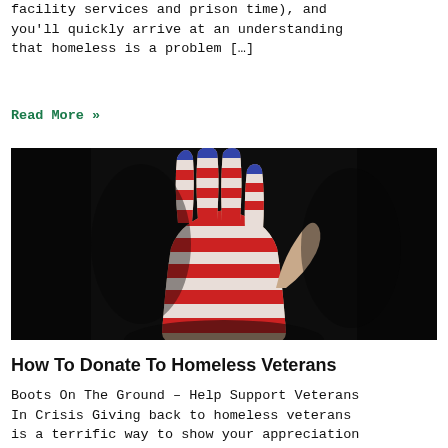facility services and prison time), and you'll quickly arrive at an understanding that homeless is a problem […]
Read More »
[Figure (photo): A hand painted with the American flag pattern (red and white stripes, blue and stars on fingers) raised against a dark background.]
How To Donate To Homeless Veterans
Boots On The Ground – Help Support Veterans In Crisis Giving back to homeless veterans is a terrific way to show your appreciation for their sacrifices. You can assist homeless veterans whether you are an